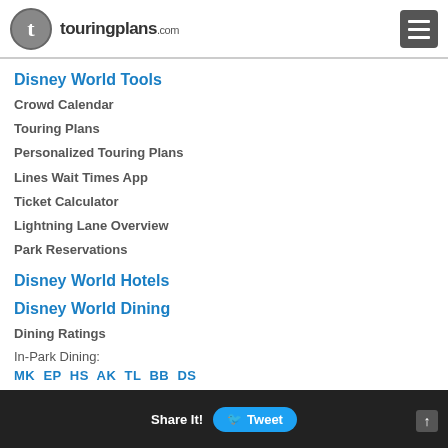touringplans.com
Disney World Tools
Crowd Calendar
Touring Plans
Personalized Touring Plans
Lines Wait Times App
Ticket Calculator
Lightning Lane Overview
Park Reservations
Disney World Hotels
Disney World Dining
Dining Ratings
In-Park Dining:
MK  EP  HS  AK  TL  BB  DS
Disney Springs Dining
Resort Hotel Dining
Share It! Tweet